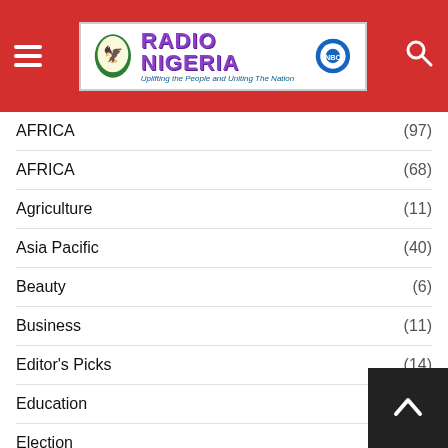Radio Nigeria — Uplifting the People and Uniting The Nation
AFRICA (97)
AFRICA (68)
Agriculture (11)
Asia Pacific (40)
Beauty (6)
Business (11)
Editor's Picks (14)
Education (65)
Election (13)
Entertainment (171)
Europe (44)
Fashion
Featured (580)
Foreign (210)